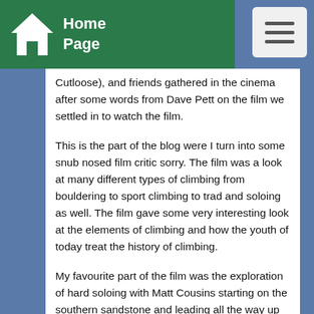Home Page
Cutloose), and friends gathered in the cinema after some words from Dave Pett on the film we settled in to watch the film.
This is the part of the blog were I turn into some snub nosed film critic sorry. The film was a look at many different types of climbing from bouldering to sport climbing to trad and soloing as well. The film gave some very interesting look at the elements of climbing and how the youth of today treat the history of climbing.
My favourite part of the film was the exploration of hard soloing with Matt Cousins starting on the southern sandstone and leading all the way up to his solo of Gaia the ultra classic trad route. Another thing that was looked at was sport climbing with Neil Gresham and Jim Pope at Malham.